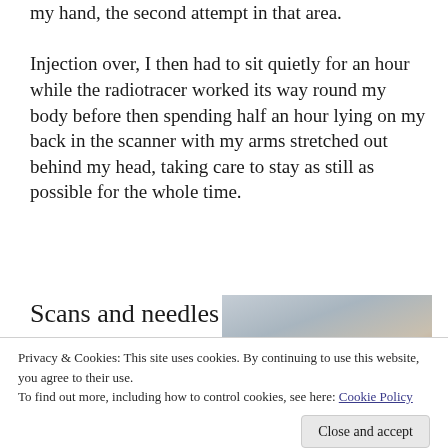my hand, the second attempt in that area.
Injection over, I then had to sit quietly for an hour while the radiotracer worked its way round my body before then spending half an hour lying on my back in the scanner with my arms stretched out behind my head, taking care to stay as still as possible for the whole time.
Scans and needles
[Figure (photo): Photo of a person's arm/shoulder area, showing skin and clothing in a medical setting.]
Privacy & Cookies: This site uses cookies. By continuing to use this website, you agree to their use.
To find out more, including how to control cookies, see here: Cookie Policy
the least.
[Figure (photo): Partial photo visible at the bottom of the page, medical setting.]